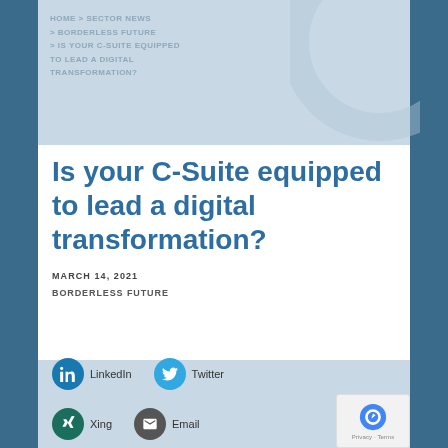HOME > SECTOR NEWS > BORDERLESS FUTURE > IS YOUR C-SUITE EQUIPPED TO LEAD A DIGITAL TRANSFORMATION?
Is your C-Suite equipped to lead a digital transformation?
MARCH 14, 2021
BORDERLESS FUTURE
[Figure (infographic): Social share buttons: LinkedIn, Twitter, Xing, Email]
[Figure (other): reCAPTCHA badge with Privacy and Terms links]